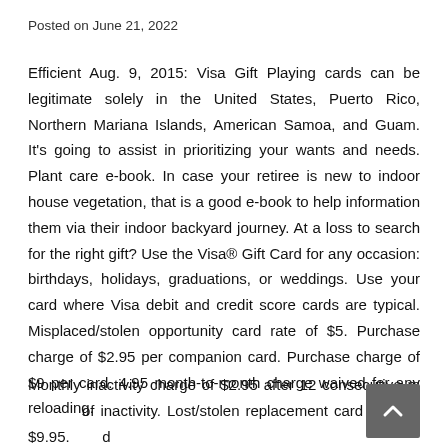Posted on June 21, 2022
Efficient Aug. 9, 2015: Visa Gift Playing cards can be legitimate solely in the United States, Puerto Rico, Northern Mariana Islands, American Samoa, and Guam. It's going to assist in prioritizing your wants and needs. Plant care e-book. In case your retiree is new to indoor house vegetation, that is a good e-book to help information them via their indoor backyard journey. At a loss to search for the right gift? Use the Visa® Gift Card for any occasion: birthdays, holidays, graduations, or weddings. Use your card where Visa debit and credit score cards are typical. Misplaced/stolen opportunity card rate of $5. Purchase charge of $2.95 per companion card. Purchase charge of $9 per card. 4.95 month-to-month charge waived for any reloading.
Monthly inactivity charge of $2.95 after 12 consecutive months of inactivity. Lost/stolen replacement card price of $9.95. The card